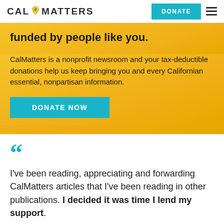CalMatters | DONATE
funded by people like you.
CalMatters is a nonprofit newsroom and your tax-deductible donations help us keep bringing you and every Californian essential, nonpartisan information.
DONATE NOW
I've been reading, appreciating and forwarding CalMatters articles that I've been reading in other publications. I decided it was time I lend my support.